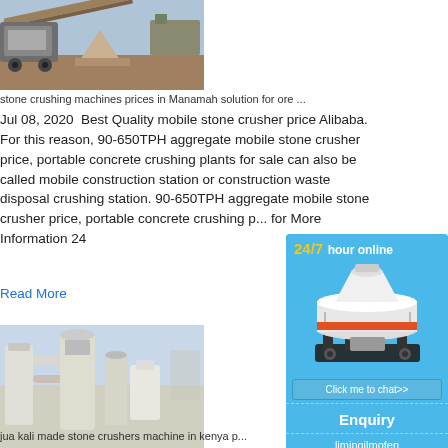[Figure (photo): Outdoor stone crushing machine / aggregate plant at a mining/quarry site]
stone crushing machines prices in Manamah solution for ore ...
Jul 08, 2020  Best Quality mobile stone crusher price Alibaba. For this reason, 90-650TPH aggregate mobile stone crusher price, portable concrete crushing plants for sale can also be called mobile construction station or construction waste disposal crushing station. 90-650TPH aggregate mobile stone crusher price, portable concrete crushing p... for More Information 24
Read More
[Figure (photo): Industrial grinding mill / powder plant machinery with piping and dust collection system]
jua kali made stone crushers machine in kenya p...
[Figure (infographic): 24/7 hour online chat sidebar widget with cone crusher image, Click me to chat>> button, Enquiry section, and limingjlmofen text]